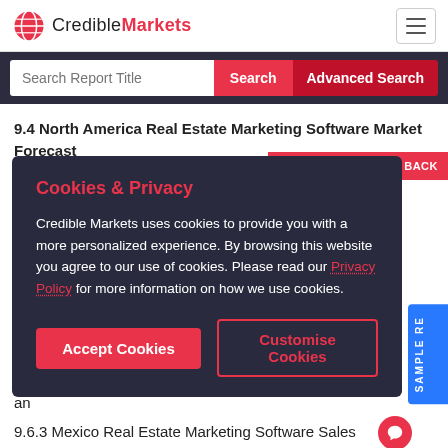CredibleMarkets
Search Report Title | Search | Advanced Search
9.4 North America Real Estate Marketing Software Market Forecast
Cookies & Privacy
Credible Markets uses cookies to provide you with a more personalized experience. By browsing this website you agree to our use of cookies. Please read our Privacy Policy for more information on how we use cookies.
Accept Cookies | Customise Cookies
9.5 [truncated] Ma...
9.6 [truncated] Ma...
9.6 [truncated] Gro...
9.6 [truncated] an...
9.6.3 Mexico Real Estate Marketing Software Sales